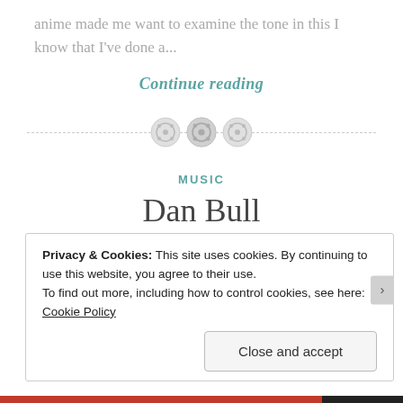anime made me want to examine the tone in this I know that I've done a...
Continue reading
[Figure (illustration): Decorative divider with three button/gear icons on a dashed horizontal line]
MUSIC
Dan Bull
July 19, 2016 · Meghan B. · Leave a comment
Privacy & Cookies: This site uses cookies. By continuing to use this website, you agree to their use.
To find out more, including how to control cookies, see here: Cookie Policy
Close and accept